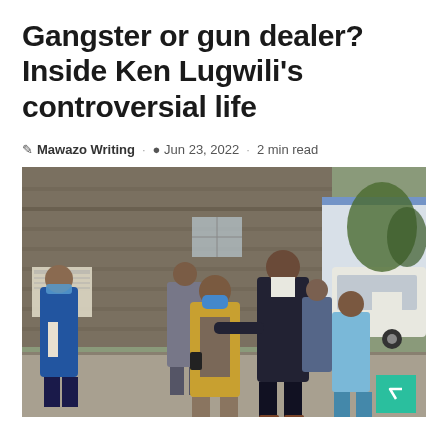Gangster or gun dealer? Inside Ken Lugwili's controversial life
Mawazo Writing · Jun 23, 2022 · 2 min read
[Figure (photo): Several men walking outdoors near a stone building. One man in the center wears a blue face mask and a yellow/mustard blazer over a patterned shirt. A taller man in a dark suit reaches out his arm toward the masked man. Other men in suits accompany them. A white SUV is visible in the background on the right. A teal/green scroll-to-top button with an upward chevron appears in the bottom-right corner of the image.]